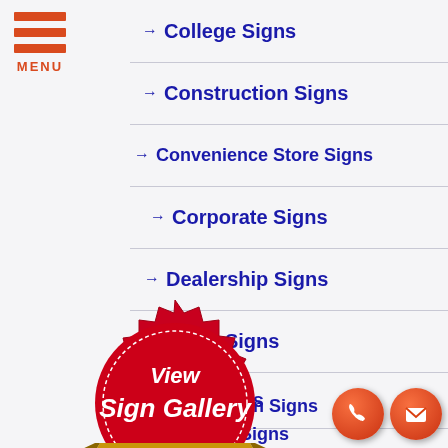[Figure (other): Hamburger menu icon with three red horizontal bars and MENU label in red below]
College Signs
Construction Signs
Convenience Store Signs
Corporate Signs
Dealership Signs
Dentist Signs
Doctor Signs
Gas Station Signs
Hospital Signs
[Figure (logo): Red seal badge with text View Sign Gallery and CLICK HERE on gold ribbon banner]
[Figure (other): Two orange-red circular buttons: phone icon and email/envelope icon]